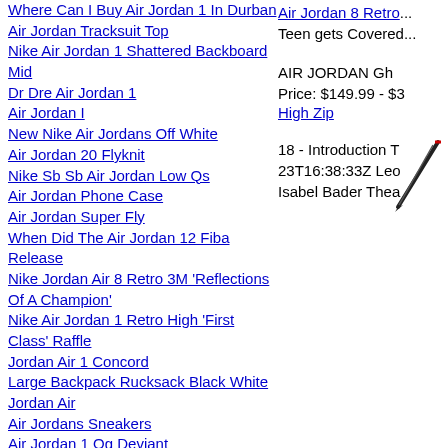Where Can I Buy Air Jordan 1 In Durban
Air Jordan Tracksuit Top
Nike Air Jordan 1 Shattered Backboard Mid
Dr Dre Air Jordan 1
Air Jordan I
New Nike Air Jordans Off White
Air Jordan 20 Flyknit
Nike Sb Sb Air Jordan Low Qs
Air Jordan Phone Case
Air Jordan Super Fly
When Did The Air Jordan 12 Fiba Release
Nike Jordan Air 8 Retro 3M 'Reflections Of A Champion'
Nike Air Jordan 1 Retro High 'First Class' Raffle
Jordan Air 1 Concord
Large Backpack Rucksack Black White Jordan Air
Air Jordans Sneakers
Air Jordan 1 Og Deviant
Nike Air Force 1 Jordan Black Low
Amazon Air Jordan Jumpan Tshurt
Air Jordan 8 Retro... Teen gets Covered...
AIR JORDAN Gh... Price: $149.99 - $... High Zip
18 - Introduction T... 23T16:38:33Z Leo... Isabel Bader Thea...